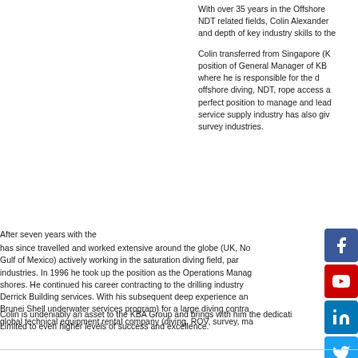With over 35 years in the Offshore NDT related fields, Colin Alexander and depth of key industry skills to the
Colin transferred from Singapore (K position of General Manager of KB where he is responsible for the d offshore diving, NDT, rope access a perfect position to manage and lea service supply industry has also gi survey industries.
After seven years with the has since travelled and worked extensive around the globe (UK, No Gulf of Mexico) actively working in the saturation diving field, par industries. In 1996 he took up the position as the Operations Manag shores. He continued his career contracting to the drilling industry Derrick Building services. With his subsequent deep experience an Brunei Shell underwater services program) for a large diving contra global technical equipment rental company (diving, ROV, survey, ma
Colin is undeniably an asset to the KBA Group and brings with him the dedication Limited to even higher levels of success and excellence.